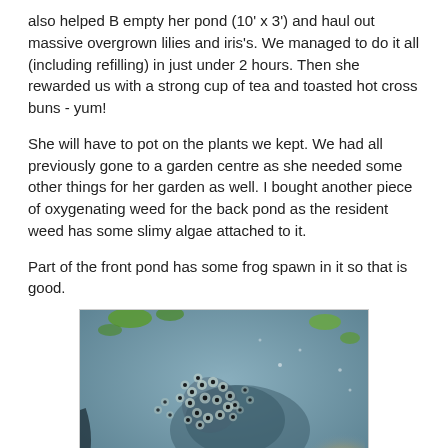also helped B empty her pond (10' x 3') and haul out massive overgrown lilies and iris's. We managed to do it all (including refilling) in just under 2 hours. Then she rewarded us with a strong cup of tea and toasted hot cross buns - yum!
She will have to pot on the plants we kept. We had all previously gone to a garden centre as she needed some other things for her garden as well. I bought another piece of oxygenating weed for the back pond as the resident weed has some slimy algae attached to it.
Part of the front pond has some frog spawn in it so that is good.
[Figure (photo): Close-up photograph of frog spawn floating in a pond, showing clusters of black eggs in jelly-like masses on the water surface with green algae and reflections visible.]